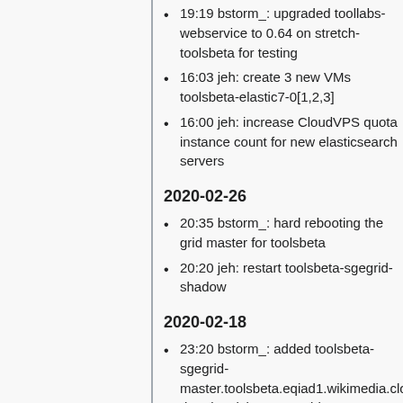19:19 bstorm_: upgraded toollabs-webservice to 0.64 on stretch-toolsbeta for testing
16:03 jeh: create 3 new VMs toolsbeta-elastic7-0[1,2,3]
16:00 jeh: increase CloudVPS quota instance count for new elasticsearch servers
2020-02-26
20:35 bstorm_: hard rebooting the grid master for toolsbeta
20:20 jeh: restart toolsbeta-sgegrid-shadow
2020-02-18
23:20 bstorm_: added toolsbeta-sgegrid-master.toolsbeta.eqiad1.wikimedia.cloud and toolsbeta-sgegrid-